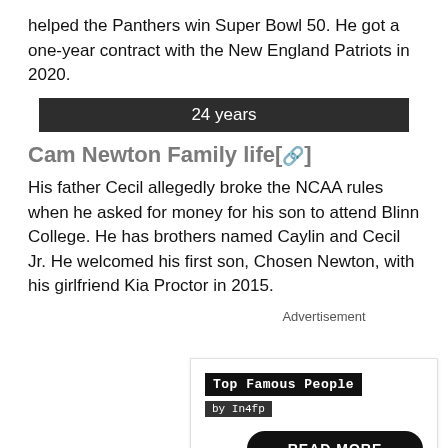helped the Panthers win Super Bowl 50. He got a one-year contract with the New England Patriots in 2020.
24 years
Cam Newton Family life[🔗]
His father Cecil allegedly broke the NCAA rules when he asked for money for his son to attend Blinn College. He has brothers named Caylin and Cecil Jr. He welcomed his first son, Chosen Newton, with his girlfriend Kia Proctor in 2015.
Advertisement
[Figure (infographic): Advertisement box for 'Top Famous People by in4fp' with a READ MORE button and a link preview for 'Lee Asher - Bio, Age, Wiki, Facts and Family - in4fp.com']